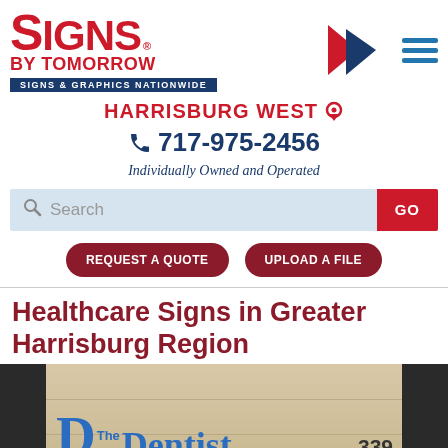[Figure (logo): Signs By Tomorrow logo with red text and dark blue subtitle bar reading SIGNS & GRAPHICS NATIONWIDE]
[Figure (illustration): Double chevron arrow icon in red and navy blue, and hamburger menu icon with three blue horizontal lines]
HARRISBURG WEST
717-975-2456
Individually Owned and Operated
Search GO
REQUEST A QUOTE
UPLOAD A FILE
Healthcare Signs in Greater Harrisburg Region
[Figure (photo): Photo of a building exterior with dark side panels, stone/tile wall, and a blue sign reading 'The Dentist' with large D logo, and number 339]